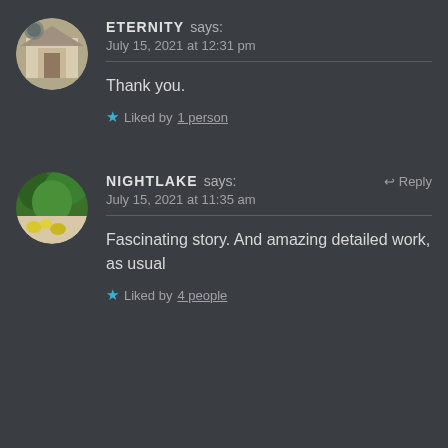ETERNITY says: July 15, 2021 at 12:31 pm
Thank you.
Liked by 1 person
NIGHTLAKE says: July 15, 2021 at 11:35 am
Fascinating story. And amazing detailed work, as usual
Liked by 4 people